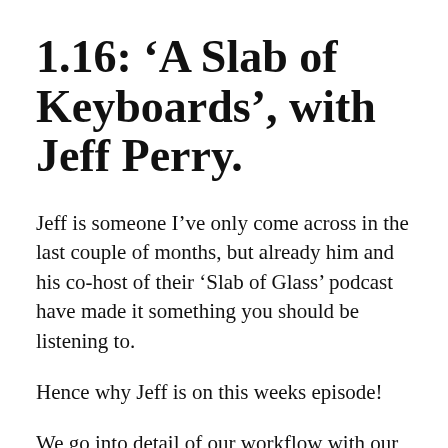1.16: ‘A Slab of Keyboards’, with Jeff Perry.
Jeff is someone I’ve only come across in the last couple of months, but already him and his co-host of their ‘Slab of Glass’ podcast have made it something you should be listening to.
Hence why Jeff is on this weeks episode!
We go into detail of our workflow with our iPads, along with a number of...